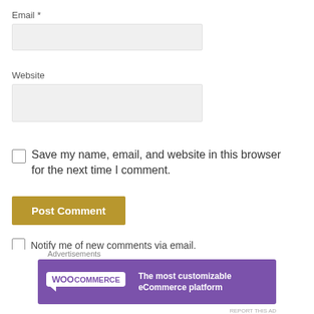Email *
[Figure (other): Email input field (greyed out text box)]
Website
[Figure (other): Website input field (greyed out text box)]
Save my name, email, and website in this browser for the next time I comment.
[Figure (other): Post Comment button (gold/olive colored)]
Notify me of new comments via email.
Notify me of new posts via email.
Advertisements
[Figure (other): WooCommerce advertisement banner: The most customizable eCommerce platform]